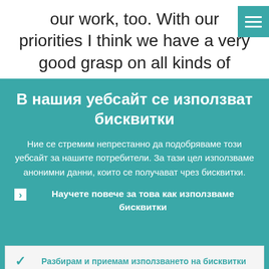our work, too. With our priorities I think we have a very good grasp on all kinds of
В нашия уебсайт се използват бисквитки
Ние се стремим непрестанно да подобряваме този уебсайт за нашите потребители. За тази цел използваме анонимни данни, които се получават чрез бисквитки.
Научете повече за това как използваме бисквитки
Разбирам и приемам използването на бисквитки
Не приемам използването на бисквитки